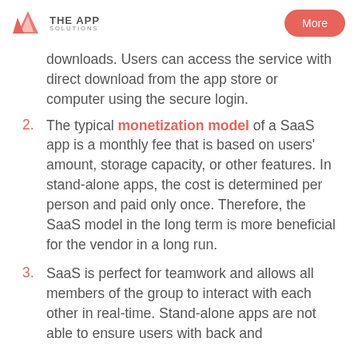THE APP SOLUTIONS | More
downloads. Users can access the service with direct download from the app store or computer using the secure login.
2. The typical monetization model of a SaaS app is a monthly fee that is based on users' amount, storage capacity, or other features. In stand-alone apps, the cost is determined per person and paid only once. Therefore, the SaaS model in the long term is more beneficial for the vendor in a long run.
3. SaaS is perfect for teamwork and allows all members of the group to interact with each other in real-time. Stand-alone apps are not able to ensure users with back and